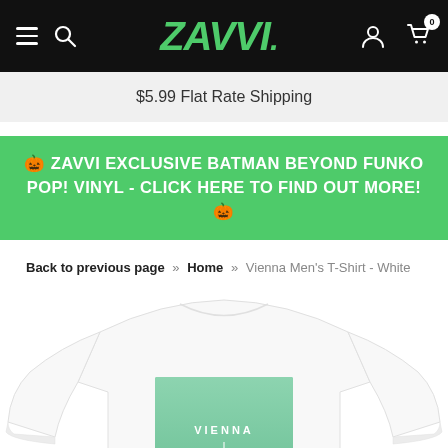ZAVVI. [navigation bar with hamburger menu, search, logo, user icon, cart icon with 0 badge]
$5.99 Flat Rate Shipping
🎃 ZAVVI EXCLUSIVE BATMAN BEYOND FUNKO POP! VINYL - CLICK HERE TO FIND OUT MORE! 🎃
Back to previous page  »  Home  »  Vienna Men's T-Shirt - White
[Figure (photo): White long-sleeve t-shirt with a square green graphic print reading VIENNA, shown from the front, torso and sleeves visible, cropped at bottom]